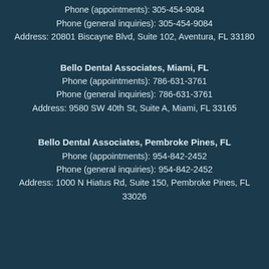Phone (appointments): 305-454-9084
Phone (general inquiries): 305-454-9084
Address: 20801 Biscayne Blvd, Suite 102, Aventura, FL 33180
Bello Dental Associates, Miami, FL
Phone (appointments): 786-631-3761
Phone (general inquiries): 786-631-3761
Address: 9580 SW 40th St, Suite A, Miami, FL 33165
Bello Dental Associates, Pembroke Pines, FL
Phone (appointments): 954-842-2452
Phone (general inquiries): 954-842-2452
Address: 1000 N Hiatus Rd, Suite 150, Pembroke Pines, FL 33026